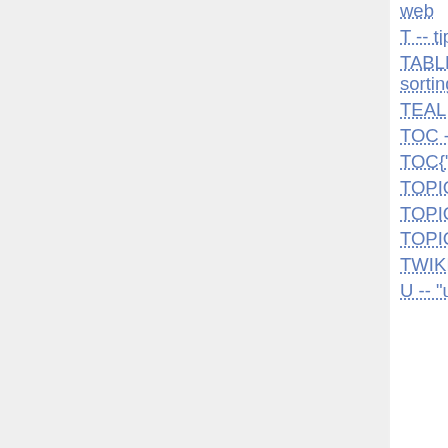web
T -- tip icon
TABLE{ attributes } -- control attributes of tables and sorting of table columns
TEAL -- start teal colored text
TOC -- table of contents of current topic
TOC{"Topic"} -- table of contents
TOPIC -- name of current topic
TOPICLIST{"format"} -- topic index of a web
TOPICURL -- shortcut to viewing the current topic
TWIKIWEB -- synonym for SYSTEMWEB
U -- "updated" icon